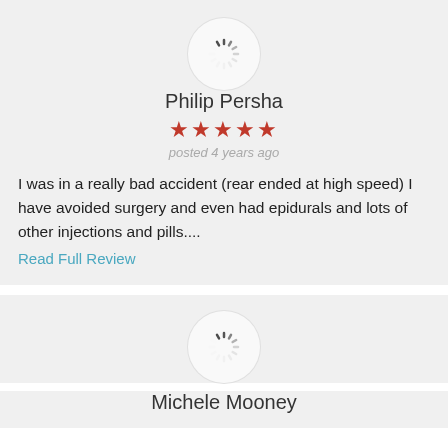[Figure (illustration): Circular avatar placeholder with loading spinner icon for Philip Persha]
Philip Persha
★★★★★
posted 4 years ago
I was in a really bad accident (rear ended at high speed) I have avoided surgery and even had epidurals and lots of other injections and pills....
Read Full Review
[Figure (illustration): Circular avatar placeholder with loading spinner icon for Michele Mooney]
Michele Mooney